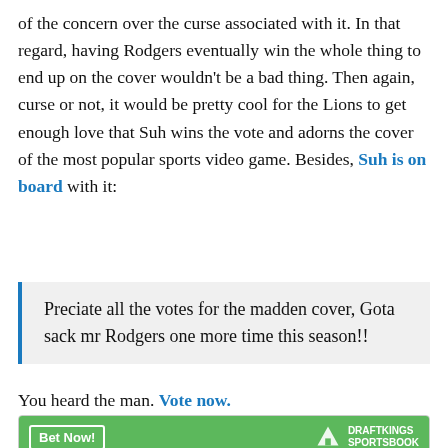of the concern over the curse associated with it. In that regard, having Rodgers eventually win the whole thing to end up on the cover wouldn't be a bad thing. Then again, curse or not, it would be pretty cool for the Lions to get enough love that Suh wins the vote and adorns the cover of the most popular sports video game. Besides, Suh is on board with it:
Preciate all the votes for the madden cover, Gota sack mr Rodgers one more time this season!!
You heard the man. Vote now.
[Figure (other): DraftKings Sportsbook widget showing D'Andre Swift with a 'To win MVP' odds of +15000]